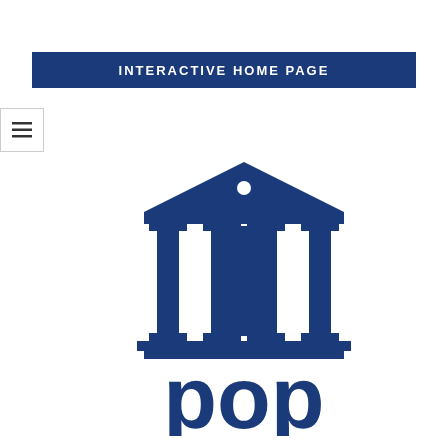INTERACTIVE HOME PAGE
[Figure (logo): POP (Participatory Open Parliament or similar) logo: a dark blue government/classical building icon with columns, pediment, and small circle at top, above the bold lowercase text 'pop' in dark blue.]